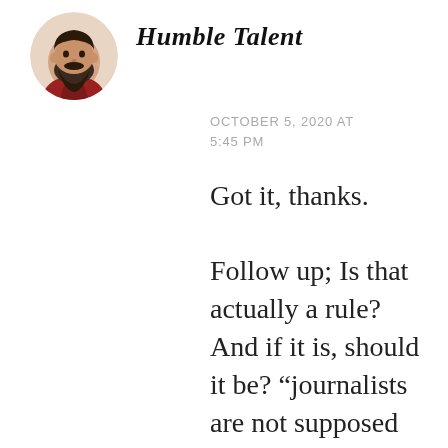[Figure (illustration): Circular avatar illustration of a bearded man in a red jacket]
Humble Talent
OCTOBER 5, 2020 AT 5:45 PM
Got it, thanks.
Follow up; Is that actually a rule? And if it is, should it be? “journalists are not supposed to endorse